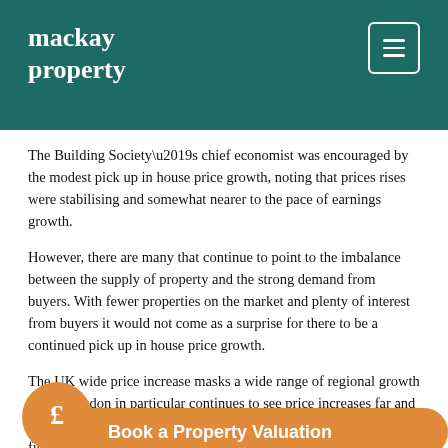mackay property
The Building Society’s chief economist was encouraged by the modest pick up in house price growth, noting that prices rises were stabilising and somewhat nearer to the pace of earnings growth.
However, there are many that continue to point to the imbalance between the supply of property and the strong demand from buyers. With fewer properties on the market and plenty of interest from buyers it would not come as a surprise for there to be a continued pick up in house price growth.
The UK wide price increase masks a wide range of regional growth rates.  London in particular continues to see price increases far and away higher than elsewhere in the country.  In fact, Nationwide figures show that the price of a typical home in the capital is now more than twice the UK average.
Far from the rocketing... slowdown in the annual rate of growth.  To underline how different the